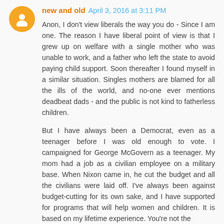new and old  April 3, 2016 at 3:11 PM
Anon, I don't view liberals the way you do - Since I am one. The reason I have liberal point of view is that I grew up on welfare with a single mother who was unable to work, and a father who left the state to avoid paying child support. Soon thereafter I found myself in a similar situation. Singles mothers are blamed for all the ills of the world, and no-one ever mentions deadbeat dads - and the public is not kind to fatherless children.
But I have always been a Democrat, even as a teenager before I was old enough to vote. I campaigned for George McGovern as a teenager. My mom had a job as a civilian employee on a military base. When Nixon came in, he cut the budget and all the civilians were laid off. I've always been against budget-cutting for its own sake, and I have supported for programs that will help women and children. It is based on my lifetime experience. You're not the